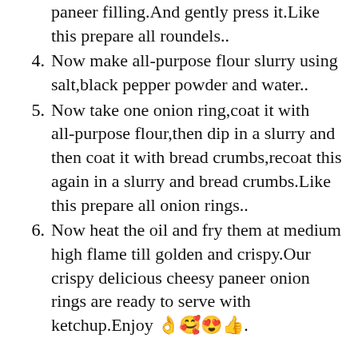(continuation) paneer filling.And gently press it.Like this prepare all roundels..
4. Now make all-purpose flour slurry using salt,black pepper powder and water..
5. Now take one onion ring,coat it with all-purpose flour,then dip in a slurry and then coat it with bread crumbs,recoat this again in a slurry and bread crumbs.Like this prepare all onion rings..
6. Now heat the oil and fry them at medium high flame till golden and crispy.Our crispy delicious cheesy paneer onion rings are ready to serve with ketchup.Enjoy 👌🥰😍👍.
It's cheaper to eat junk food than Cheesy Paneer Onion